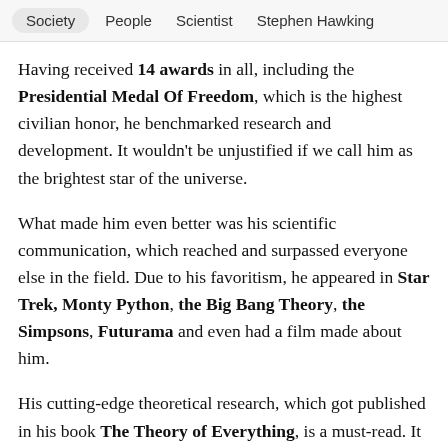Society   People   Scientist   Stephen Hawking
Having received 14 awards in all, including the Presidential Medal Of Freedom, which is the highest civilian honor, he benchmarked research and development. It wouldn't be unjustified if we call him as the brightest star of the universe.
What made him even better was his scientific communication, which reached and surpassed everyone else in the field. Due to his favoritism, he appeared in Star Trek, Monty Python, the Big Bang Theory, the Simpsons, Futurama and even had a film made about him.
His cutting-edge theoretical research, which got published in his book The Theory of Everything, is a must-read. It explains the complexity universe, black holes, singularity in a